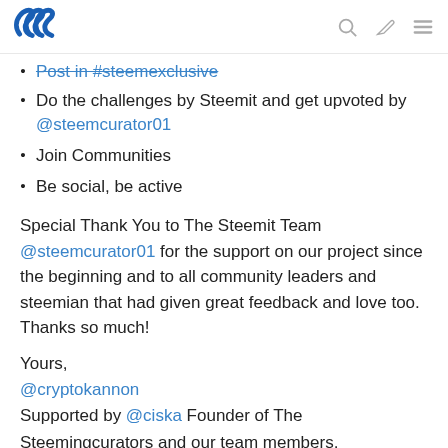Steemit logo and navigation icons
Post in #steemexclusive
Do the challenges by Steemit and get upvoted by @steemcurator01
Join Communities
Be social, be active
Special Thank You to The Steemit Team @steemcurator01 for the support on our project since the beginning and to all community leaders and steemian that had given great feedback and love too. Thanks so much!
Yours,
@cryptokannon
Supported by @ciska Founder of The Steemingcurators and our team members,
& The Steemit Team @steemcurator01